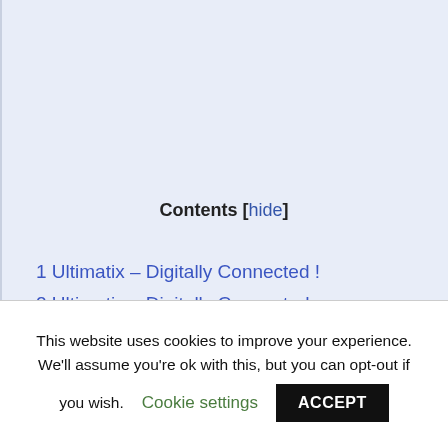Contents [hide]
1 Ultimatix – Digitally Connected !
2 Ultimatix – Digitally Connected
3 Logged out of TCS Fit4Life ...
This website uses cookies to improve your experience. We'll assume you're ok with this, but you can opt-out if you wish. Cookie settings ACCEPT